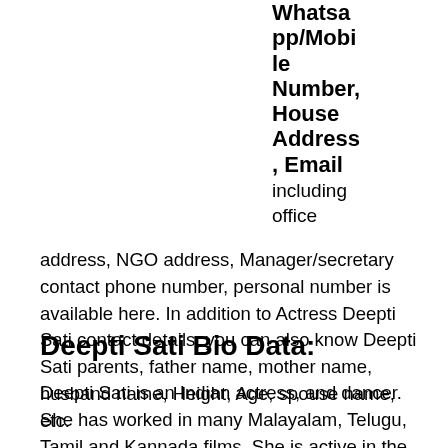Whatsapp/Mobile Number, House Address, Email including office address, NGO address, Manager/secretary contact phone number, personal number is available here. In addition to Actress Deepti Sati contact details, you can also know Deepti Sati parents, father name, mother name, husband name, Height, Age, spouse name, etc.
Deepti Sati Bio Data:
Deepti Sati is an Indian actress, and dancer. She has worked in many Malayalam, Telugu, Tamil and Kannada films. She is active in the film industry since 2015. The first movie of Deepti